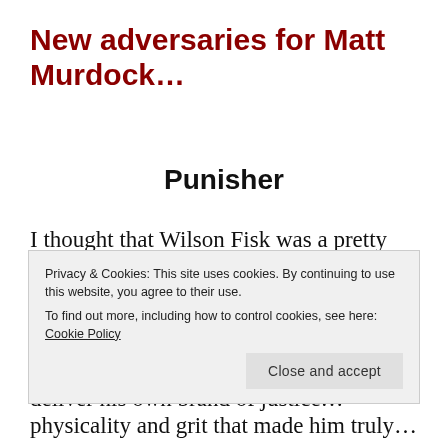New adversaries for Matt Murdock…
Punisher
I thought that Wilson Fisk was a pretty scary adversary but sounds like we ain't seen nothin' yet. Jon Bernthal has joined the cast as Frank Castle, a.k.a. The Punisher, who'll come to Hell's Kitchen to deliver his own brand of justice…
Privacy & Cookies: This site uses cookies. By continuing to use this website, you agree to their use.
To find out more, including how to control cookies, see here: Cookie Policy
physicality and grit that made him truly…